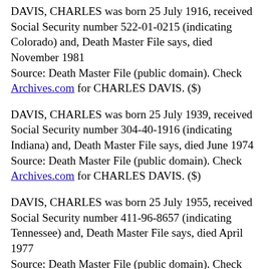DAVIS, CHARLES was born 25 July 1916, received Social Security number 522-01-0215 (indicating Colorado) and, Death Master File says, died November 1981
Source: Death Master File (public domain). Check Archives.com for CHARLES DAVIS. ($)
DAVIS, CHARLES was born 25 July 1939, received Social Security number 304-40-1916 (indicating Indiana) and, Death Master File says, died June 1974
Source: Death Master File (public domain). Check Archives.com for CHARLES DAVIS. ($)
DAVIS, CHARLES was born 25 July 1955, received Social Security number 411-96-8657 (indicating Tennessee) and, Death Master File says, died April 1977
Source: Death Master File (public domain). Check Archives.com for CHARLES DAVIS. ($)
DAVIS, CHARLES was born 25 June 1910, received